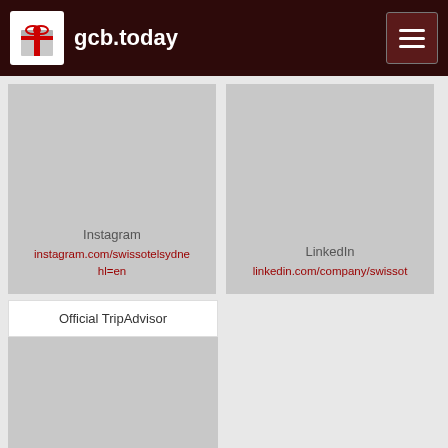gcb.today
[Figure (screenshot): Instagram card showing instagram.com/swissotelsydne hl=en link on grey background]
[Figure (screenshot): LinkedIn card showing linkedin.com/company/swissot link on grey background]
Official TripAdvisor
[Figure (screenshot): TripAdvisor card showing tripadvisor.com/Hotel_Review-g255060-d256595-Reviews-Swissotel_Sydney- link on grey background]
Gift Card Details
Swissôtel Hotels & Resorts Sydney gift card or gift certificate links.